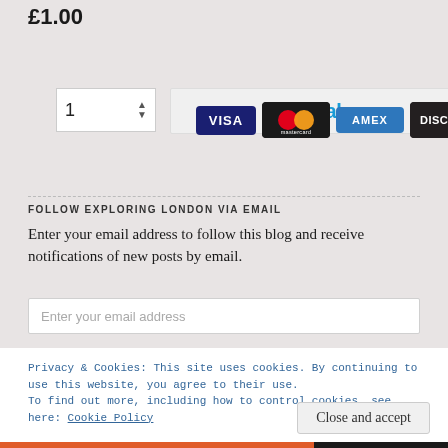£1.00
[Figure (screenshot): Quantity input box showing '1' with up/down arrows, next to a PayPal button]
[Figure (screenshot): Payment card logos: VISA, Mastercard, AMEX, DISCOVER]
FOLLOW EXPLORING LONDON VIA EMAIL
Enter your email address to follow this blog and receive notifications of new posts by email.
Enter your email address
Privacy & Cookies: This site uses cookies. By continuing to use this website, you agree to their use.
To find out more, including how to control cookies, see here: Cookie Policy
Close and accept